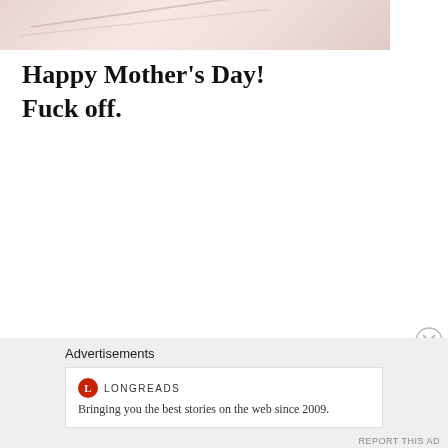[Figure (photo): A soft pink/rose-toned hero image at the top of the page, showing curved light-colored fabric or surfaces with subtle diagonal lines.]
Happy Mother's Day!
Fuck off.
Advertisements
[Figure (logo): Longreads advertisement: circular red logo with 'L' inside, brand name LONGREADS, tagline 'Bringing you the best stories on the web since 2009.']